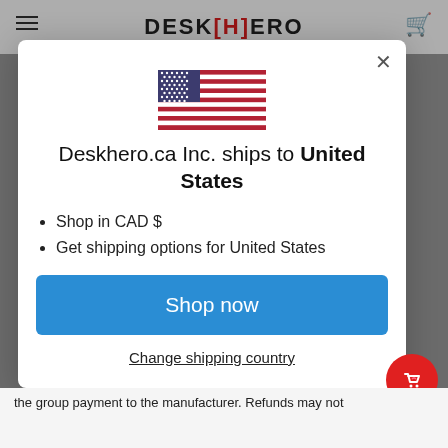[Figure (screenshot): DeskHero website header with hamburger menu, logo DESK[H]ERO, and cart icon]
[Figure (illustration): US flag icon centered in modal]
Deskhero.ca Inc. ships to United States
Shop in CAD $
Get shipping options for United States
Shop now
Change shipping country
the group payment to the manufacturer. Refunds may not